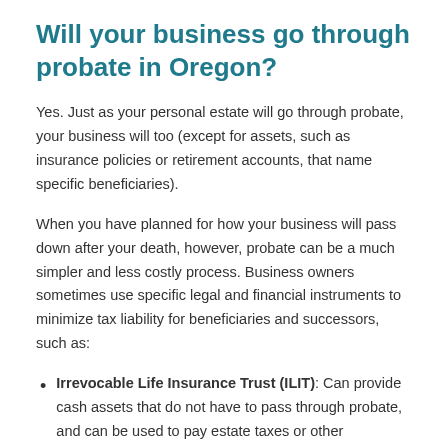Will your business go through probate in Oregon?
Yes. Just as your personal estate will go through probate, your business will too (except for assets, such as insurance policies or retirement accounts, that name specific beneficiaries).
When you have planned for how your business will pass down after your death, however, probate can be a much simpler and less costly process. Business owners sometimes use specific legal and financial instruments to minimize tax liability for beneficiaries and successors, such as:
Irrevocable Life Insurance Trust (ILIT): Can provide cash assets that do not have to pass through probate, and can be used to pay estate taxes or other expenses.